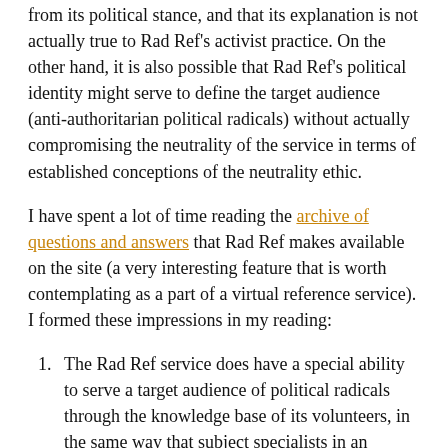from its political stance, and that its explanation is not actually true to Rad Ref's activist practice. On the other hand, it is also possible that Rad Ref's political identity might serve to define the target audience (anti-authoritarian political radicals) without actually compromising the neutrality of the service in terms of established conceptions of the neutrality ethic.
I have spent a lot of time reading the archive of questions and answers that Rad Ref makes available on the site (a very interesting feature that is worth contemplating as a part of a virtual reference service). I formed these impressions in my reading:
The Rad Ref service does have a special ability to serve a target audience of political radicals through the knowledge base of its volunteers, in the same way that subject specialists in an academic library have a better ability to serve graduate students and upper division undergrads through their subject knowledge. This is a quality that could be transferred to other virtual reference services